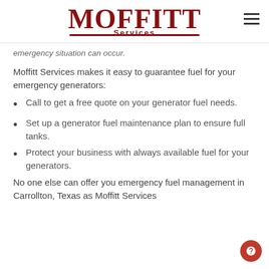Moffitt Services [logo]
emergency situation can occur.
Moffitt Services makes it easy to guarantee fuel for your emergency generators:
Call to get a free quote on your generator fuel needs.
Set up a generator fuel maintenance plan to ensure full tanks.
Protect your business with always available fuel for your generators.
No one else can offer you emergency fuel management in Carrollton, Texas as Moffitt Services